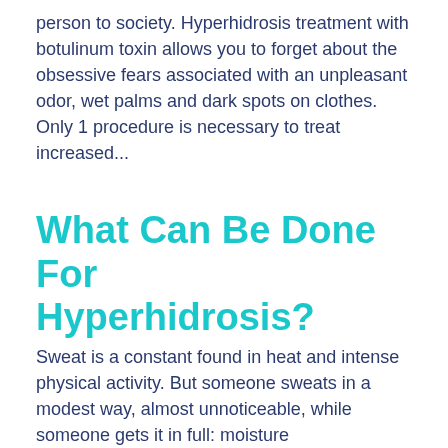person to society. Hyperhidrosis treatment with botulinum toxin allows you to forget about the obsessive fears associated with an unpleasant odor, wet palms and dark spots on clothes. Only 1 procedure is necessary to treat increased...
What Can Be Done For Hyperhidrosis?
Sweat is a constant found in heat and intense physical activity. But someone sweats in a modest way, almost unnoticeable, while someone gets it in full: moisture...